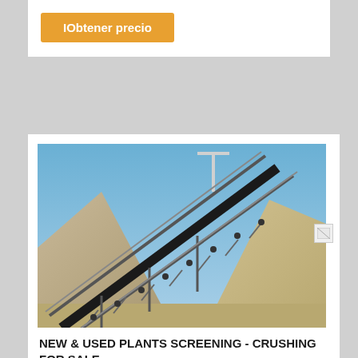IObtener precio
[Figure (photo): Industrial conveyor belt system at a quarry/aggregate plant, showing a long inclined belt conveyor with metal railings and support structure, surrounded by large gravel/aggregate piles, with a blue sky background and a light pole visible at top.]
NEW & USED PLANTS SCREENING - CRUSHING FOR SALE
Fixed Crushing Plant for producing Aggregates & Sealing Chips